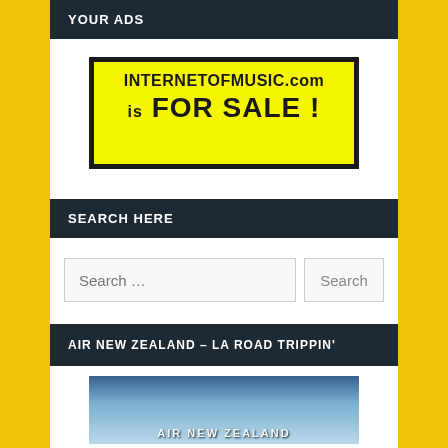YOUR ADS
[Figure (other): Yellow advertisement banner for INTERNETOFMUSIC.com stating it is FOR SALE !]
SEARCH HERE
Search ...
AIR NEW ZEALAND – LA ROAD TRIPPIN'
[Figure (photo): Thumbnail image showing Air New Zealand branding, partially visible at bottom of page]